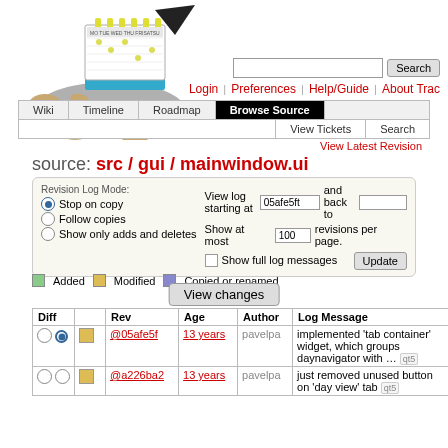[Figure (logo): Trac turtle mascot logo with calendar on a plate]
Search | Login | Preferences | Help/Guide | About Trac
Wiki | Timeline | Roadmap | Browse Source | View Tickets | Search
View Latest Revision
source: src / gui / mainwindow.ui
Revision Log Mode: Stop on copy, Follow copies, Show only adds and deletes. View log starting at 05afe5ft and back to. Show at most 100 revisions per page. Show full log messages. Update.
Added   Modified   Copied or renamed
View changes
| Diff |  | Rev | Age | Author | Log Message |
| --- | --- | --- | --- | --- | --- |
| ○ ● | □ | @05afe5f | 13 years | pavelpa | implemented 'tab container' widget, which groups daynavigator with … qt5 |
| ○ ○ | □ | @a226ba2 | 13 years | pavelpa | just removed unused button on 'day view' tab qt5 |